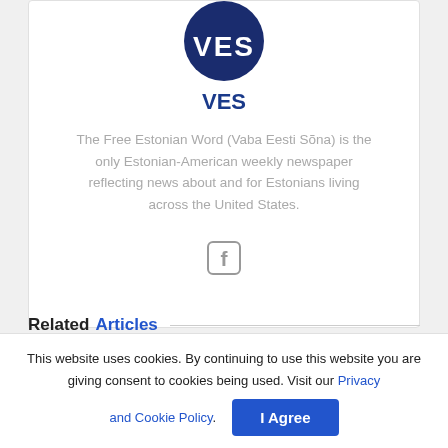[Figure (logo): VES circular logo with dark navy blue background and white VES letters]
VES
The Free Estonian Word (Vaba Eesti Sõna) is the only Estonian-American weekly newspaper reflecting news about and for Estonians living across the United States.
[Figure (illustration): Facebook icon (f logo) in grey]
Related Articles
This website uses cookies. By continuing to use this website you are giving consent to cookies being used. Visit our Privacy and Cookie Policy.